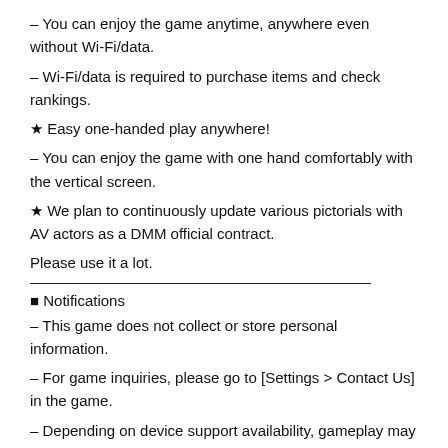– You can enjoy the game anytime, anywhere even without Wi-Fi/data.
– Wi-Fi/data is required to purchase items and check rankings.
★ Easy one-handed play anywhere!
– You can enjoy the game with one hand comfortably with the vertical screen.
★ We plan to continuously update various pictorials with AV actors as a DMM official contract.
Please use it a lot.
■ Notifications
– This game does not collect or store personal information.
– For game inquiries, please go to [Settings > Contact Us] in the game.
– Depending on device support availability, gameplay may be restricted.
– You can purchase partially paid items in this game.